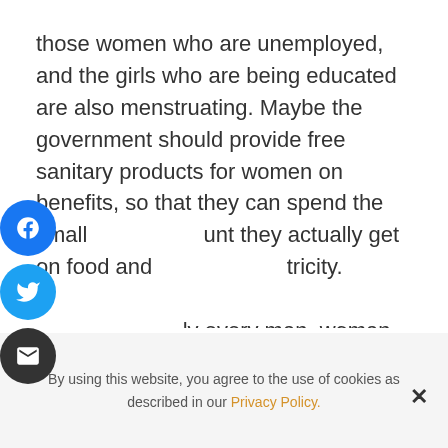those women who are unemployed, and the girls who are being educated are also menstruating. Maybe the government should provide free sanitary products for women on benefits, so that they can spend the small amount they actually get on food and electricity.

Nearly every man, woman and child would find it not only offensive but probably quite disturbing if I were to walk around without using a tampon or wearing a pad. In a society
By using this website, you agree to the use of cookies as described in our Privacy Policy.